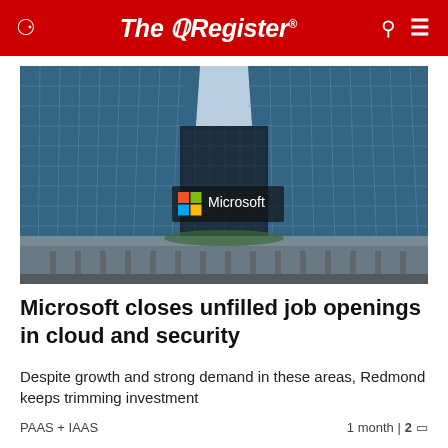The Register
[Figure (photo): Microsoft corporate campus building with glass facade and Microsoft logo sign in foreground]
Microsoft closes unfilled job openings in cloud and security
Despite growth and strong demand in these areas, Redmond keeps trimming investment
PAAS + IAAS    1 month | 2